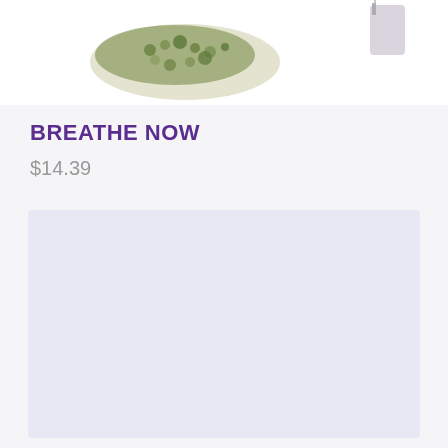[Figure (photo): Product photo showing loose dried herbs/tea blend and a tea bag on white background]
BREATHE NOW
$14.39
[Figure (other): Lavender/light purple rectangular placeholder box]